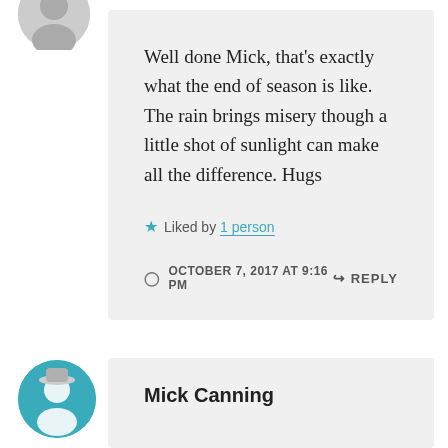[Figure (photo): Partial circular avatar image at top left, mostly cropped]
Well done Mick, that's exactly what the end of season is like. The rain brings misery though a little shot of sunlight can make all the difference. Hugs
★ Liked by 1 person
OCTOBER 7, 2017 AT 9:16 PM
↳ REPLY
[Figure (photo): Circular avatar with teal/green background showing a person with hat]
Mick Canning